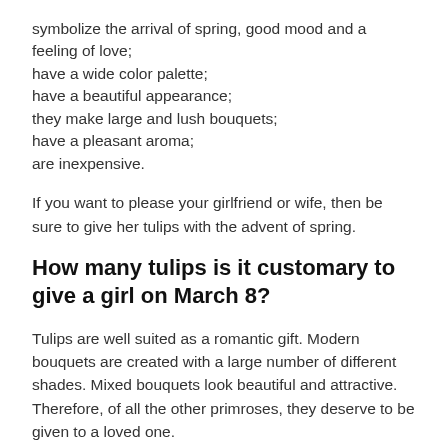symbolize the arrival of spring, good mood and a feeling of love;
have a wide color palette;
have a beautiful appearance;
they make large and lush bouquets;
have a pleasant aroma;
are inexpensive.
If you want to please your girlfriend or wife, then be sure to give her tulips with the advent of spring.
How many tulips is it customary to give a girl on March 8?
Tulips are well suited as a romantic gift. Modern bouquets are created with a large number of different shades. Mixed bouquets look beautiful and attractive. Therefore, of all the other primroses, they deserve to be given to a loved one.
When choosing the number of tulips for a bouquet, you should not save. The fact is that a small number of flowers will create a modest bouquet. An exception may be a bouquet that is given to work colleagues or people as a token of attention. Even 5 tulips, which